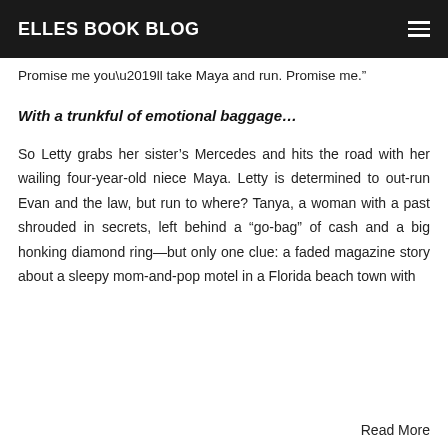ELLES BOOK BLOG
Promise me you’ll take Maya and run. Promise me.”
With a trunkful of emotional baggage…
So Letty grabs her sister’s Mercedes and hits the road with her wailing four-year-old niece Maya. Letty is determined to out-run Evan and the law, but run to where? Tanya, a woman with a past shrouded in secrets, left behind a “go-bag” of cash and a big honking diamond ring—but only one clue: a faded magazine story about a sleepy mom-and-pop motel in a Florida beach town with
Read More